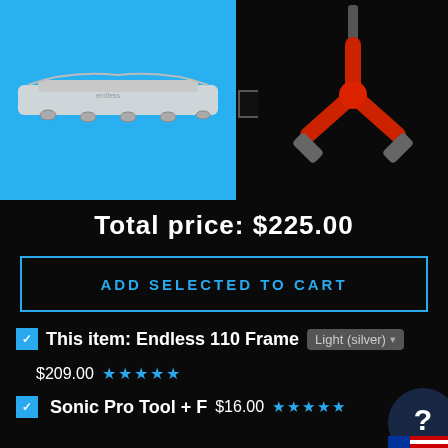[Figure (photo): Product image of Endless 110 Frame on blue background, with Sonic Pro Tool Y-wrench on black background to the right]
Total price: $225.00
ADD SELECTED TO CART
This item: Endless 110 Frame  Light (silver)  $209.00  ★★★★★
Sonic Pro Tool + F  $16.00  ★★★★★